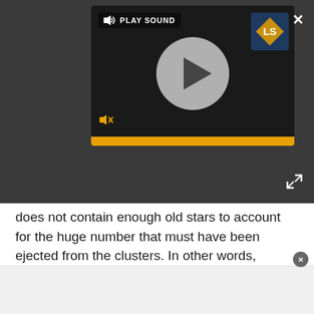[Figure (screenshot): Audio/video media player with play button, speaker/mute icon, LS logo, progress bar in gold, and PLAY SOUND label. Dark background with circular play button.]
does not contain enough old stars to account for the huge number that must have been ejected from the clusters. In other words, there's nowhere for the stars to hide.
The findings are leading astronomers to question their theories about globular clusters near the Milky Way. What if the missing stars aren't hiding in the galaxy? What if the "missing" stars never existed? And if that's the case, how did the second-generation of stars form?